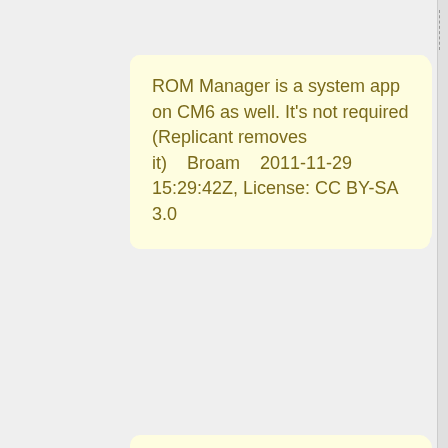ROM Manager is a system app on CM6 as well. It's not required (Replicant removes it)    Broam    2011-11-29 15:29:42Z, License: CC BY-SA 3.0
I'm not sure why one would want to remove ROM Manager since it alerts you of OS (CM) updates and lets you backup your current ROM, but to each their own   Bryan Denny    2011-11-29 16:36:33Z, License: CC BY-SA 3.0
@BryanDenny: It's kind of useless if you don't use ClockworkMod recovery. IMHO